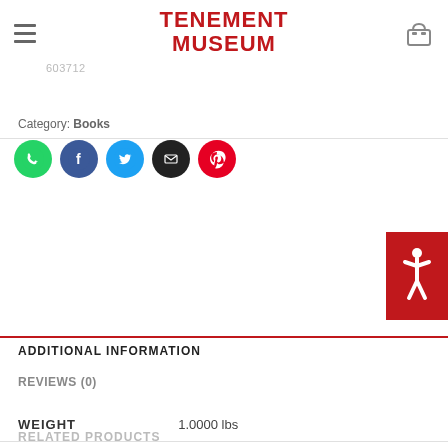TENEMENT MUSEUM
603712
Category: Books
[Figure (other): Social share icons: WhatsApp (green), Facebook (blue), Twitter (blue), Email (black), Pinterest (red)]
[Figure (other): Accessibility button with person/wheelchair icon in red background]
ADDITIONAL INFORMATION
REVIEWS (0)
| WEIGHT | 1.0000 lbs |
| DIMENSIONS | 0.0000 × 6.0000 × 1.5000 in |
RELATED PRODUCTS